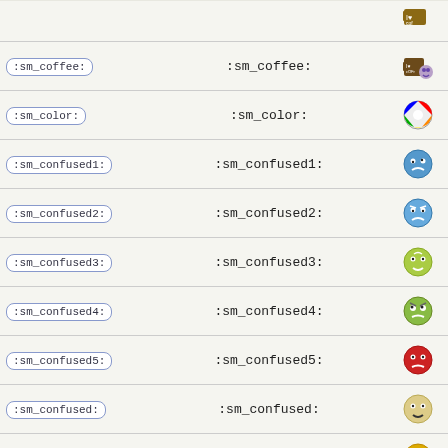| Code | Display Text | Emoji |
| --- | --- | --- |
| :sm_coffee: | :sm_coffee: | [emoji] |
| :sm_color: | :sm_color: | [emoji] |
| :sm_confused1: | :sm_confused1: | [emoji] |
| :sm_confused2: | :sm_confused2: | [emoji] |
| :sm_confused3: | :sm_confused3: | [emoji] |
| :sm_confused4: | :sm_confused4: | [emoji] |
| :sm_confused5: | :sm_confused5: | [emoji] |
| :sm_confused: | :sm_confused: | [emoji] |
| :sm_cool: | :sm_cool: | [emoji] |
| :sm_cry: | :sm_cry: | [emoji] |
| :sm_crybaby2: | :sm_crybaby2: | [emoji] |
| :sm_crying: | :sm_crying: | [emoji] |
| :sm_cussing: | :sm_cussing: | [emoji] |